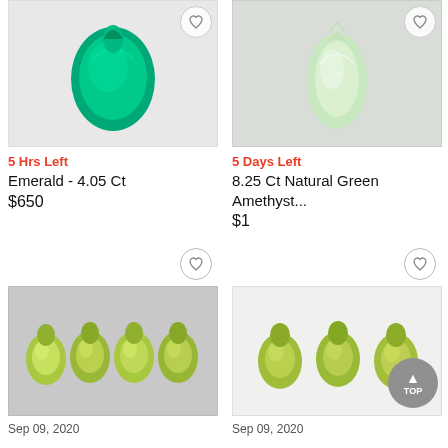[Figure (photo): Emerald gemstone, pear-shaped, deep green color on white background]
5 Hrs Left
Emerald - 4.05 Ct
$650
[Figure (photo): Green Amethyst gemstone, elongated drop shape, light green/pale color on grey background]
5 Days Left
8.25 Ct Natural Green Amethyst...
$1
[Figure (photo): Four peridot gemstones, pear-shaped, yellow-green color arranged in a row on grey background]
Sep 09, 2020
[Figure (photo): Three peridot gemstones, pear-shaped, yellow-green color on white background]
Sep 09, 2020